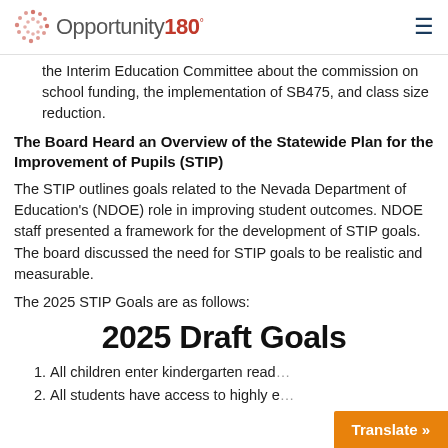Opportunity 180°
the Interim Education Committee about the commission on school funding, the implementation of SB475, and class size reduction.
The Board Heard an Overview of the Statewide Plan for the Improvement of Pupils (STIP)
The STIP outlines goals related to the Nevada Department of Education's (NDOE) role in improving student outcomes. NDOE staff presented a framework for the development of STIP goals. The board discussed the need for STIP goals to be realistic and measurable.
The 2025 STIP Goals are as follows:
2025 Draft Goals
All children enter kindergarten read…
All students have access to highly e…